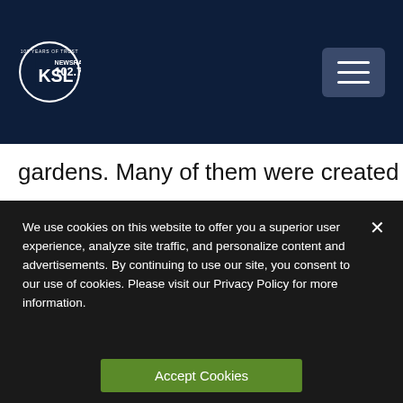[Figure (logo): KSL NewsRadio 102.7FM logo with circular emblem and hamburger menu button on dark navy header bar]
gardens. Many of them were created by Randy hi
[Figure (screenshot): Alexa listen to advertisement image with large quote mark in green, 'Alexa' in navy, and 'listen to' in green text]
We use cookies on this website to offer you a superior user experience, analyze site traffic, and personalize content and advertisements. By continuing to use our site, you consent to our use of cookies. Please visit our Privacy Policy for more information.
Accept Cookies